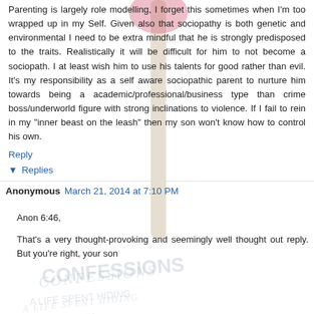[Figure (photo): Background image showing a book cover with a gavel/hammer and handwritten text 'CONFESSIONS OF A SOCIOPATH' and 'A LIFE SPENT HIDING IN PLAIN SIGHT' and 'M.E. THOMAS', partially visible as watermark behind comment text]
Parenting is largely role modelling, I forget this sometimes when I'm too wrapped up in my Self. Given also that sociopathy is both genetic and environmental I need to be extra mindful that he is strongly predisposed to the traits. Realistically it will be difficult for him to not become a sociopath. I at least wish him to use his talents for good rather than evil. It's my responsibility as a self aware sociopathic parent to nurture him towards being a academic/professional/business type than crime boss/underworld figure with strong inclinations to violence. If I fail to rein in my "inner beast on the leash" then my son won't know how to control his own.
Reply
▾ Replies
Anonymous  March 21, 2014 at 7:10 PM
Anon 6:46,

That's a very thought-provoking and seemingly well thought out reply. But you're right, your son